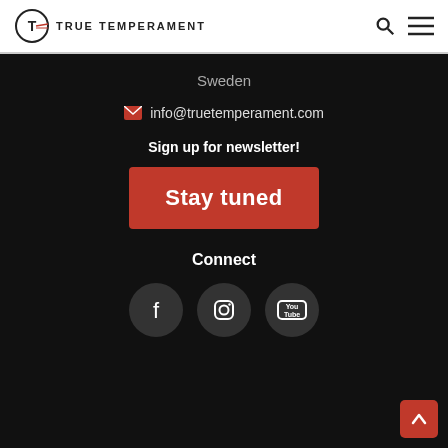TRUE TEMPERAMENT
Sweden
info@truetemperament.com
Sign up for newsletter!
Stay tuned
Connect
[Figure (illustration): Social media icons: Facebook, Instagram, YouTube in dark circles]
[Figure (illustration): Back-to-top arrow button in red square at bottom right]